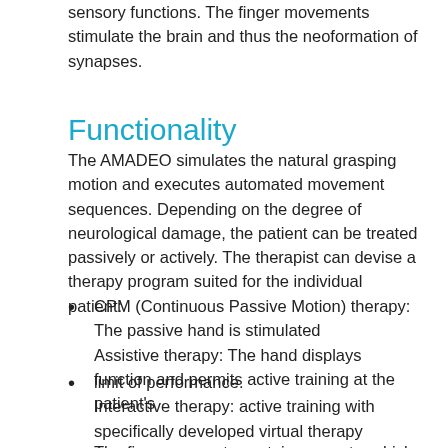sensory functions. The finger movements stimulate the brain and thus the neoformation of synapses.
Functionality
The AMADEO simulates the natural grasping motion and executes automated movement sequences. Depending on the degree of neurological damage, the patient can be treated passively or actively. The therapist can devise a therapy program suited for the individual patient:
CPM (Continuous Passive Motion) therapy: The passive hand is stimulated
Assistive therapy: The hand displays function and permits active training at the patient's
limit of performance.
Interactive therapy: active training with specifically developed virtual therapy games.
The finger supports contain magnets, which connect to the AMADEO finger slides. The ergonomic hand